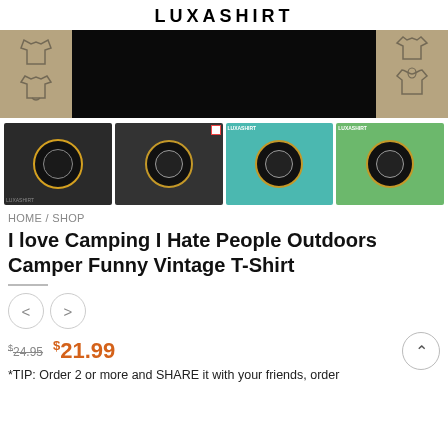LUXASHIRT
[Figure (photo): Hero banner with tattoo arms visible on left and right sides, dark/black center section with apparel type icons (long sleeve, t-shirt, hoodie) on sides]
[Figure (photo): Four product thumbnail images showing a black t-shirt and long sleeve shirt with a circular camping graphic design, shown against various backgrounds]
HOME / SHOP
I love Camping I Hate People Outdoors Camper Funny Vintage T-Shirt
[Figure (other): Navigation previous/next arrow buttons (circle buttons with < and > arrows)]
$24.95  $21.99
*TIP: Order 2 or more and SHARE it with your friends, order